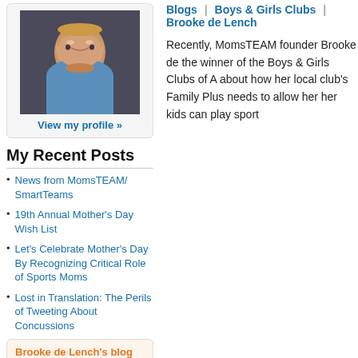[Figure (photo): Profile photo of a woman with blonde hair wearing a blue blazer and necklace, smiling]
View my profile »
My Recent Posts
News from MomsTEAM/SmartTeams
19th Annual Mother's Day Wish List
Let's Celebrate Mother's Day By Recognizing Critical Role of Sports Moms
Lost in Translation: The Perils of Tweeting About Concussions
Brooke de Lench's blog
14477 reads
Flag as offensive
Printer-friendly version
Average:
Blogs | Boys & Girls Clubs | Brooke de Lench
Recently, MomsTEAM founder Brooke de the winner of the Boys & Girls Clubs of A about how her local club's Family Plus needs to allow her her kids can play sport